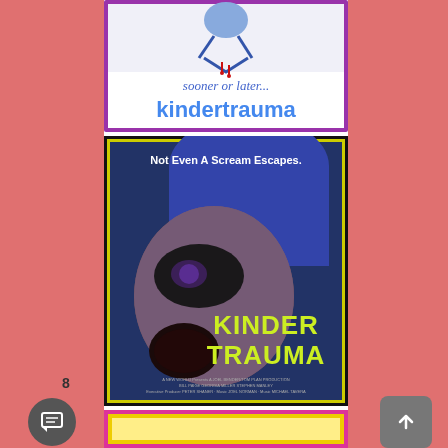[Figure (illustration): Kindertrauma website banner with cartoon illustration at top, text reading 'sooner or later...' in italic script and 'kindertrauma' in large blue bubble letters, with purple border]
[Figure (photo): Kindertrauma horror movie poster showing a blue-tinted screaming face wearing large sunglasses reflecting a menacing figure, with tagline 'Not Even A Scream Escapes.' and yellow-green title text 'KINDER TRAUMA', framed with yellow and black border]
[Figure (photo): Partial view of another image with yellow and magenta/pink borders visible at bottom of page]